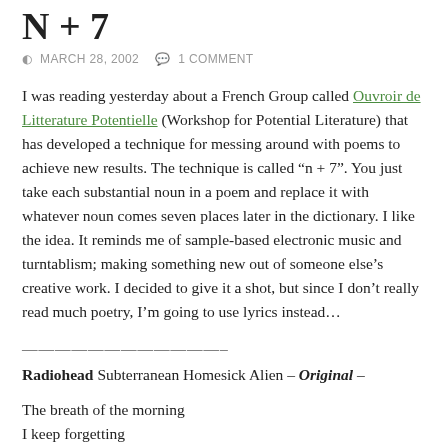N + 7
MARCH 28, 2002   1 COMMENT
I was reading yesterday about a French Group called Ouvroir de Litterature Potentielle (Workshop for Potential Literature) that has developed a technique for messing around with poems to achieve new results. The technique is called “n + 7”. You just take each substantial noun in a poem and replace it with whatever noun comes seven places later in the dictionary. I like the idea. It reminds me of sample-based electronic music and turntablism; making something new out of someone else’s creative work. I decided to give it a shot, but since I don’t really read much poetry, I’m going to use lyrics instead…
————————————–
Radiohead Subterranean Homesick Alien – Original –
The breath of the morning
I keep forgetting